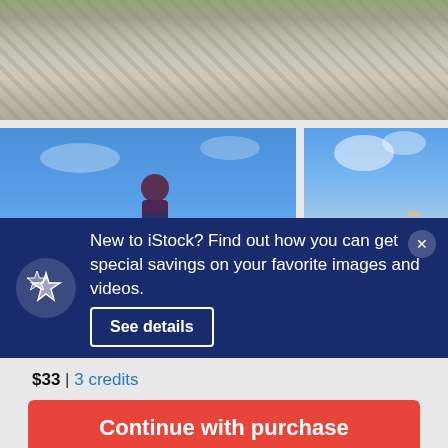[Figure (photo): Rocky mountain landscape with grey/white boulders and sparse green vegetation at top]
[Figure (photo): Man in dark top standing with dog on leash against bright blue sky]
[Figure (photo): Mountain goat standing on rocky cliff edge with blue sky and mountains in background]
New to iStock? Find out how you can get special savings on your favorite images and videos.
See details
$33 | 3 credits
Continue with purchase